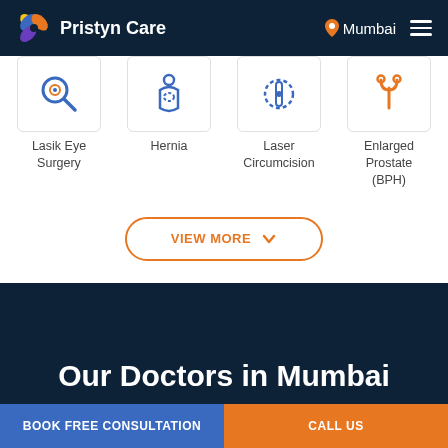Pristyn Care — Mumbai
[Figure (illustration): Service icon for Lasik Eye Surgery — magnifying glass / eye icon in blue and orange]
Lasik Eye Surgery
[Figure (illustration): Service icon for Hernia — blue outline hernia/body icon]
Hernia
[Figure (illustration): Service icon for Laser Circumcision — blue dotted circular medical icon]
Laser Circumcision
[Figure (illustration): Service icon for Enlarged Prostate (BPH) — orange prostate fork symbol]
Enlarged Prostate (BPH)
VIEW MORE
Our Doctors in Mumbai
BOOK FREE CONSULTATION
CALL US